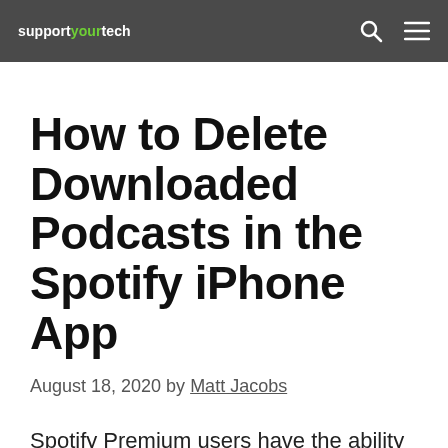supportyourtech
How to Delete Downloaded Podcasts in the Spotify iPhone App
August 18, 2020 by Matt Jacobs
Spotify Premium users have the ability to download audio directly to their devices. This allows for listening to podcasts without an internet connection. It has...